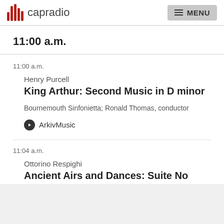capradio MENU
11:00 a.m.
11:00 a.m.
Henry Purcell
King Arthur: Second Music in D minor
Bournemouth Sinfonietta; Ronald Thomas, conductor
ArkivMusic
11:04 a.m.
Ottorino Respighi
Ancient Airs and Dances: Suite No.